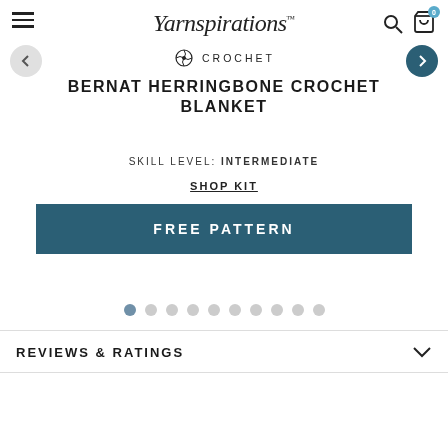Yarnspirations
CROCHET
BERNAT HERRINGBONE CROCHET BLANKET
SKILL LEVEL: INTERMEDIATE
SHOP KIT
FREE PATTERN
REVIEWS & RATINGS